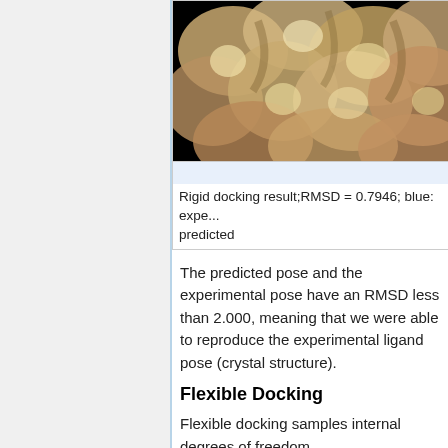[Figure (photo): 3D molecular surface rendering showing a protein binding pocket with a warm beige/gold coloring on a black background — rigid docking result visualization.]
Rigid docking result;RMSD = 0.7946; blue: expe... predicted
The predicted pose and the experimental pose have an RMSD less than 2.000, meaning that we were able to reproduce the experimental ligand pose (crystal structure).
Flexible Docking
Flexible docking samples internal degrees of freedom.
The following should be performed in the 04.dock directory.
Create an empty file (flex.in) and run...